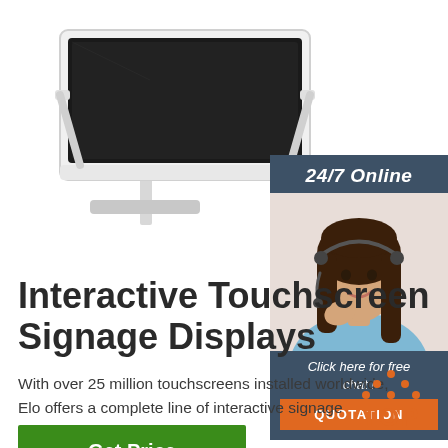[Figure (photo): Interactive touchscreen display product photo - a modern white-framed touchscreen on a stand, viewed from above at an angle]
[Figure (photo): 24/7 Online chat widget showing a smiling woman with a headset, with 'Click here for free chat!' text and an orange QUOTATION button]
Interactive Touchscreen Signage Displays
With over 25 million touchscreens installed worldwide, Elo offers a complete line of interactive signage products. Learn more.
[Figure (other): Green 'Get Price' button]
[Figure (logo): TOP logo with orange dotted triangle above the word TOP in orange text]